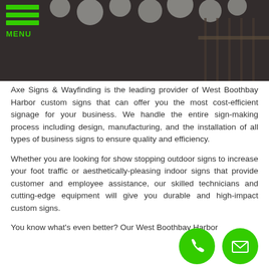[Figure (photo): Interior restaurant or event venue scene with globe pendant lights and railing, dark/moody atmosphere with overlay]
MENU
Axe Signs & Wayfinding is the leading provider of West Boothbay Harbor custom signs that can offer you the most cost-efficient signage for your business. We handle the entire sign-making process including design, manufacturing, and the installation of all types of business signs to ensure quality and efficiency.
Whether you are looking for show stopping outdoor signs to increase your foot traffic or aesthetically-pleasing indoor signs that provide customer and employee assistance, our skilled technicians and cutting-edge equipment will give you durable and high-impact custom signs.
You know what's even better? Our West Boothbay Harbor